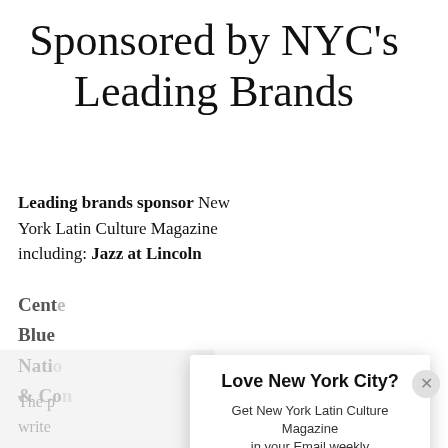Sponsored by NYC's Leading Brands
Leading brands sponsor New York Latin Culture Magazine including: Jazz at Lincoln Center, Blue [truncated], National [truncated], & Co[truncated]
The p[truncated] write[truncated] cons[truncated] through[truncated] relat[truncated]
[Figure (screenshot): Modal popup with title 'Love New York City?', body text 'Get New York Latin Culture Magazine in your Email weekly', a green button 'YES, SIGN ME UP', and a gray button 'NO THANKS'. A close (X) button is in the top-right corner of the modal.]